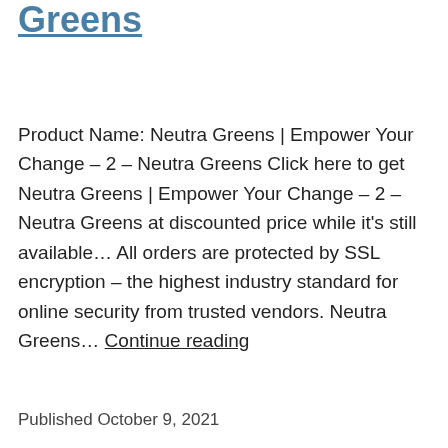Greens
Product Name: Neutra Greens | Empower Your Change – 2 – Neutra Greens Click here to get Neutra Greens | Empower Your Change – 2 – Neutra Greens at discounted price while it's still available… All orders are protected by SSL encryption – the highest industry standard for online security from trusted vendors. Neutra Greens… Continue reading
Published October 9, 2021